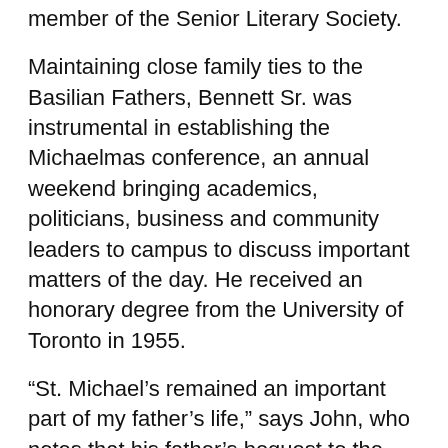He was active in the choir and dramatics, and was a member of the Senior Literary Society.
Maintaining close family ties to the Basilian Fathers, Bennett Sr. was instrumental in establishing the Michaelmas conference, an annual weekend bringing academics, politicians, business and community leaders to campus to discuss important matters of the day. He received an honorary degree from the University of Toronto in 1955.
“St. Michael’s remained an important part of my father’s life,” says John, who notes that his father’s bequest to the University funded various projects on a one-off basis within the Christianity and Culture program over the years. John’s additional funding will create a permanent chair with a mission to examine the integration of Christianity with arts and culture.